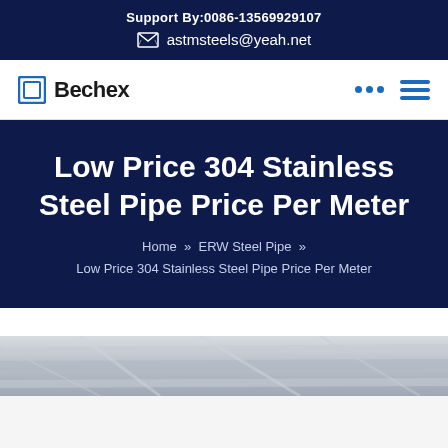Support By:0086-13569929107
astmsteels@yeah.net
Bechex
Low Price 304 Stainless Steel Pipe Price Per Meter
Home » ERW Steel Pipe » Low Price 304 Stainless Steel Pipe Price Per Meter
[Figure (photo): Photo of stainless steel pipes in a warehouse/industrial setting, partially visible at the bottom of the page]